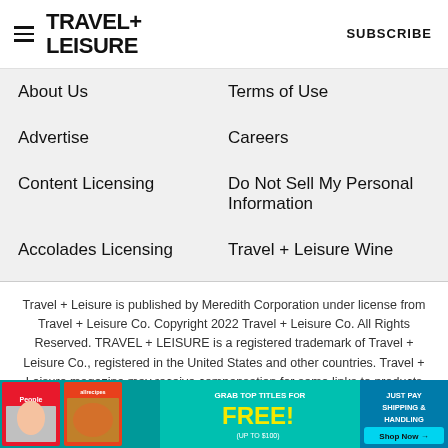TRAVEL+ LEISURE   SUBSCRIBE
About Us
Terms of Use
Advertise
Careers
Content Licensing
Do Not Sell My Personal Information
Accolades Licensing
Travel + Leisure Wine
Travel + Leisure is published by Meredith Corporation under license from Travel + Leisure Co. Copyright 2022 Travel + Leisure Co. All Rights Reserved. TRAVEL + LEISURE is a registered trademark of Travel + Leisure Co., registered in the United States and other countries. Travel + Leisure magazine may receive compensation for some links to products and services on this website. Offers may be subject to change without notice.
[Figure (infographic): Advertisement banner: People and allrecipes magazine covers with text 'GRAB TOP TITLES FOR FREE! (UP TO $100)' and 'JUST PAY SHIPPING & HANDLING  Shop Now →' on a teal background]